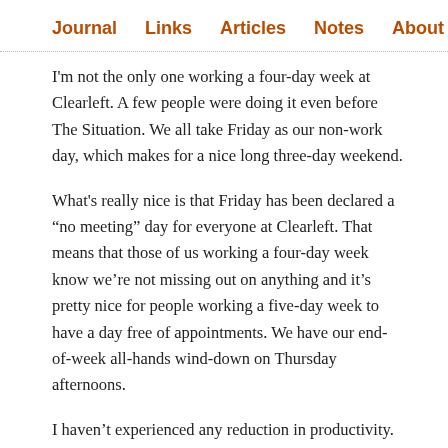Journal  Links  Articles  Notes  About
I'm not the only one working a four-day week at Clearleft. A few people were doing it even before The Situation. We all take Friday as our non-work day, which makes for a nice long three-day weekend.
What's really nice is that Friday has been declared a “no meeting” day for everyone at Clearleft. That means that those of us working a four-day week know we’re not missing out on anything and it’s pretty nice for people working a five-day week to have a day free of appointments. We have our end-of-week all-hands wind-down on Thursday afternoons.
I haven’t experienced any reduction in productivity. Quite the opposite. There may be a corollay to Parkinson’s Law: work contracts to fill the time available.
At one time, a six-day work week was the norm. It may well